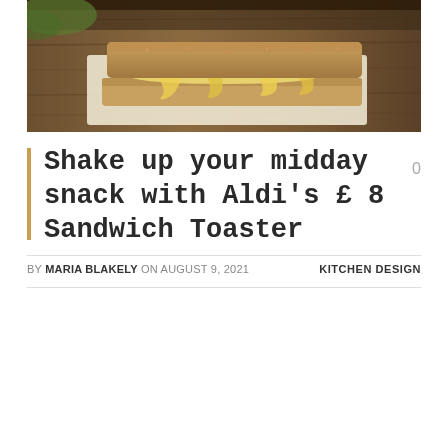[Figure (photo): A toasted sandwich with melted cheese oozing out, placed on parchment paper on a wooden surface]
Shake up your midday snack with Aldi's £ 8 Sandwich Toaster
0
BY MARIA BLAKELY ON AUGUST 9, 2021    KITCHEN DESIGN